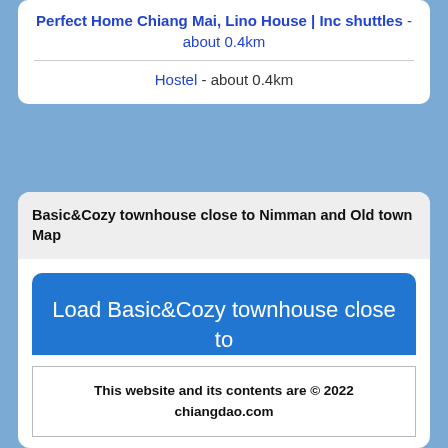Perfect Home Chiang Mai, Lino House | Inc shuttles - about 0.4km
Hostel - about 0.4km
Basic&Cozy townhouse close to Nimman and Old town Map
Load Basic&Cozy townhouse close to Nimman and Old town Map
This website and its contents are © 2022 chiangdao.com